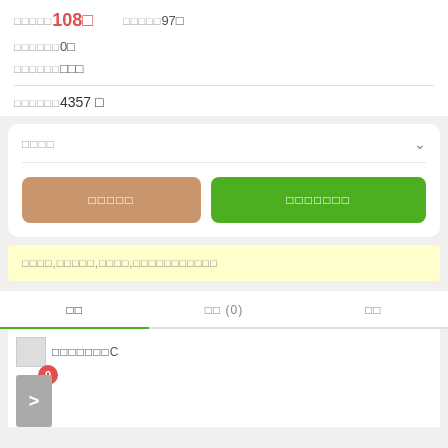□□□□□108□  □□□□□97□
□□□□□□0□
□□□□□□□□□
□□□□□□4357 □
□□□□
□□□□□
□□□□□□□
□□□□,□□□□□,□□□□,□□□□□□□□□□□
□□
□□ (0)
□□
□□□□□□□C
0